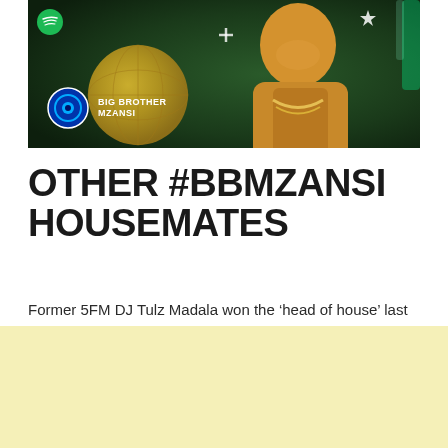[Figure (photo): Big Brother Mzansi promotional image showing a man in a yellow/gold jacket with a gold chain necklace, smiling. Big Brother Mzansi logo visible in bottom left of image. Spotify logo top left. Colorful background with globe graphic and sparkle decorations. Neon green light effect on right side.]
OTHER #BBMZANSI HOUSEMATES
Former 5FM DJ Tulz Madala won the ‘head of house’ last week and chose to share the ‘head of house’ bedroom with Nale.
Tulz chose Libo and Acacia to share the privileges